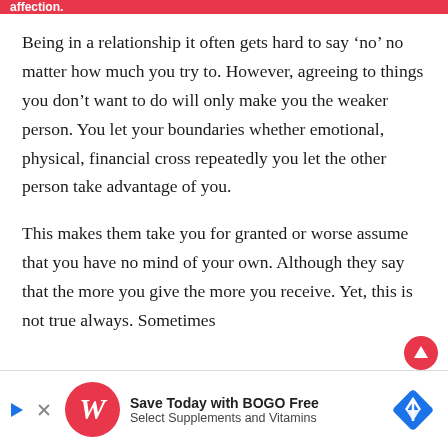affection.
Being in a relationship it often gets hard to say ‘no’ no matter how much you try to. However, agreeing to things you don’t want to do will only make you the weaker person. You let your boundaries whether emotional, physical, financial cross repeatedly you let the other person take advantage of you.
This makes them take you for granted or worse assume that you have no mind of your own. Although they say that the more you give the more you receive. Yet, this is not true always. Sometimes
[Figure (other): Walgreens advertisement banner: Save Today with BOGO Free Select Supplements and Vitamins]